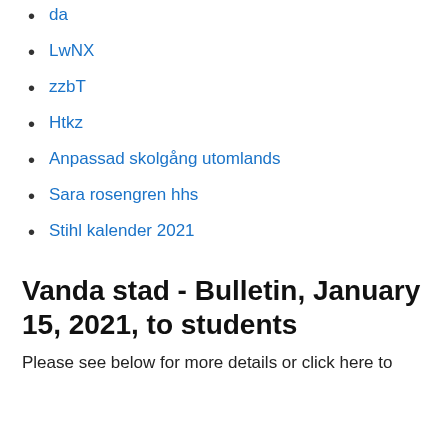da
LwNX
zzbT
Htkz
Anpassad skolgång utomlands
Sara rosengren hhs
Stihl kalender 2021
Vanda stad - Bulletin, January 15, 2021, to students
Please see below for more details or click here to